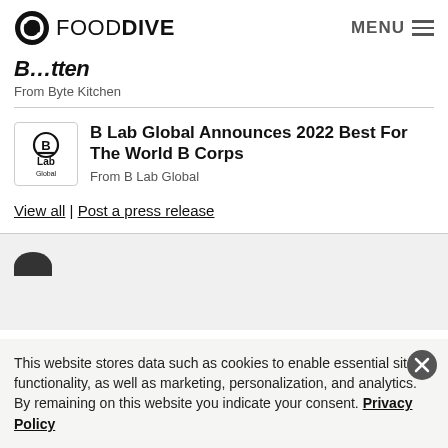FOOD DIVE | MENU
B…tten
From Byte Kitchen
B Lab Global Announces 2022 Best For The World B Corps
From B Lab Global
View all | Post a press release
This website stores data such as cookies to enable essential site functionality, as well as marketing, personalization, and analytics. By remaining on this website you indicate your consent. Privacy Policy